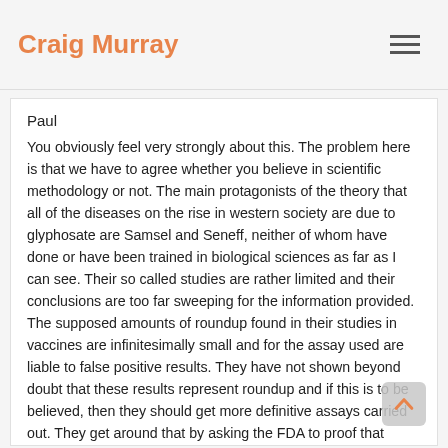Craig Murray
Paul
You obviously feel very strongly about this. The problem here is that we have to agree whether you believe in scientific methodology or not. The main protagonists of the theory that all of the diseases on the rise in western society are due to glyphosate are Samsel and Seneff, neither of whom have done or have been trained in biological sciences as far as I can see. Their so called studies are rather limited and their conclusions are too far sweeping for the information provided. The supposed amounts of roundup found in their studies in vaccines are infinitesimally small and for the assay used are liable to false positive results. They have not shown beyond doubt that these results represent roundup and if this is to be believed, then they should get more definitive assays carried out. They get around that by asking the FDA to proof that roundup does is not found in vaccines and various commentators have then said that this is tantamount to asking someone to prove that they are innocent.